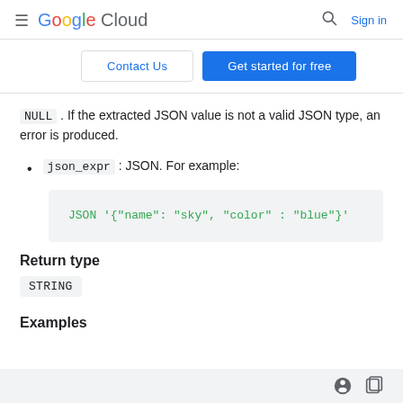Google Cloud  Sign in
Contact Us   Get started for free
NULL . If the extracted JSON value is not a valid JSON type, an error is produced.
json_expr : JSON. For example:
JSON '{"name": "sky", "color" : "blue"}'
Return type
STRING
Examples